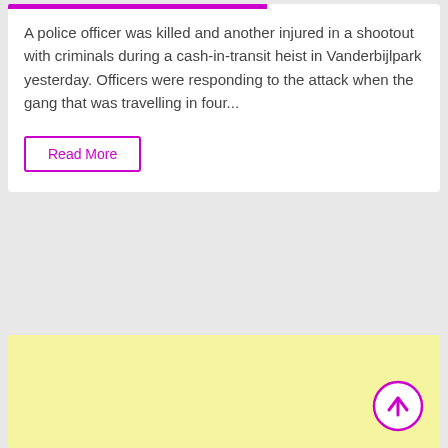A police officer was killed and another injured in a shootout with criminals during a cash-in-transit heist in Vanderbijlpark yesterday. Officers were responding to the attack when the gang that was travelling in four...
Read More
[Figure (other): Yellow advertisement block placeholder]